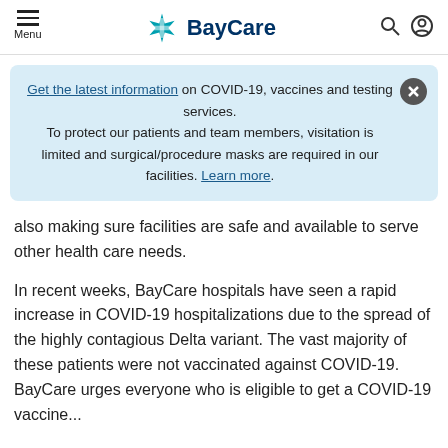Menu | BayCare
Get the latest information on COVID-19, vaccines and testing services. To protect our patients and team members, visitation is limited and surgical/procedure masks are required in our facilities. Learn more.
also making sure facilities are safe and available to serve other health care needs.
In recent weeks, BayCare hospitals have seen a rapid increase in COVID-19 hospitalizations due to the spread of the highly contagious Delta variant. The vast majority of these patients were not vaccinated against COVID-19. BayCare urges everyone who is eligible to get a COVID-19 vaccine...